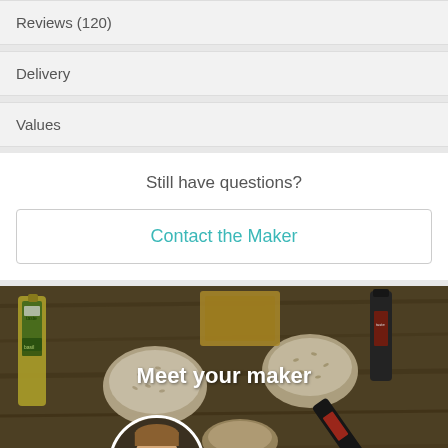Reviews (120)
Delivery
Values
Still have questions?
Contact the Maker
[Figure (photo): Banner photo showing olive oils, spices and condiments on a wooden surface with text 'Meet your maker' and a circular avatar of a man below]
Meet your maker